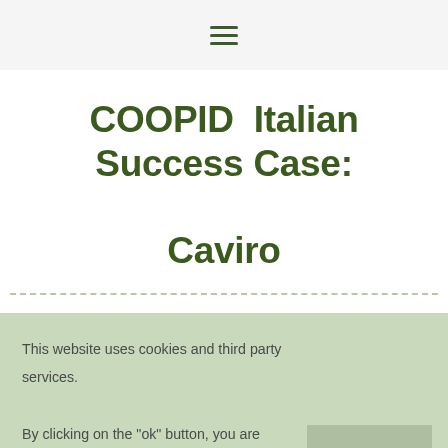[Figure (other): Hamburger menu icon (three horizontal lines) in dark green]
COOPID  Italian Success Case:

Caviro
This website uses cookies and third party services.

By clicking on the "ok" button, you are accepting the use of them. You can change your cookie settings by clicking the "settings" link. Settings ∨